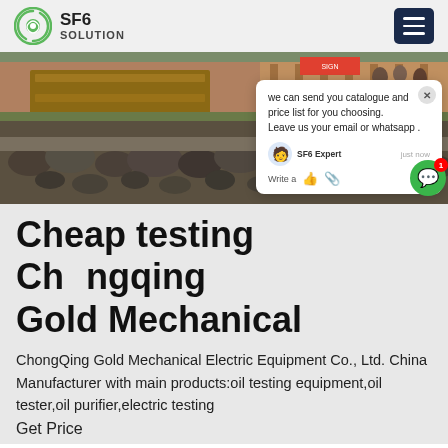SF6 SOLUTION
[Figure (photo): Outdoor construction/industrial site with stacked timber, rock aggregate, and wooden fencing in background]
we can send you catalogue and price list for you choosing. Leave us your email or whatsapp . SF6 Expert  just now  Write a
Cheap testing Chongqing Gold Mechanical
ChongQing Gold Mechanical Electric Equipment Co., Ltd. China Manufacturer with main products:oil testing equipment,oil tester,oil purifier,electric testing
Get Price